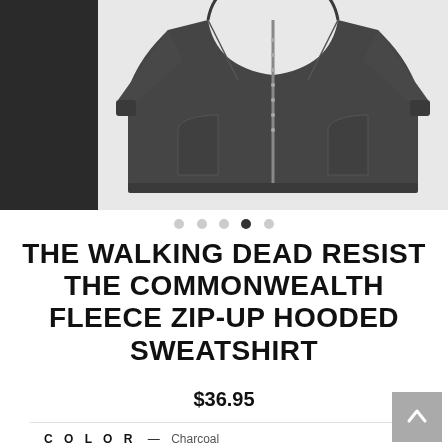[Figure (photo): Product photo of a dark charcoal fleece zip-up hooded sweatshirt with a side panel showing black color swatch, displayed on white background]
[Figure (other): Image carousel navigation dots, 5 dots with the 4th dot filled/active]
THE WALKING DEAD RESIST THE COMMONWEALTH FLEECE ZIP-UP HOODED SWEATSHIRT
$36.95
COLOR — Charcoal
[Figure (other): Two color swatches: black (unselected) and charcoal (selected with ring border)]